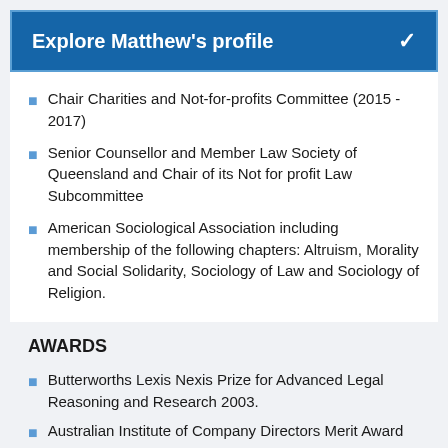Explore Matthew's profile
Chair Charities and Not-for-profits Committee (2015 - 2017)
Senior Counsellor and Member Law Society of Queensland and Chair of its Not for profit Law Subcommittee
American Sociological Association including membership of the following chapters: Altruism, Morality and Social Solidarity, Sociology of Law and Sociology of Religion.
AWARDS
Butterworths Lexis Nexis Prize for Advanced Legal Reasoning and Research 2003.
Australian Institute of Company Directors Merit Award 2009.